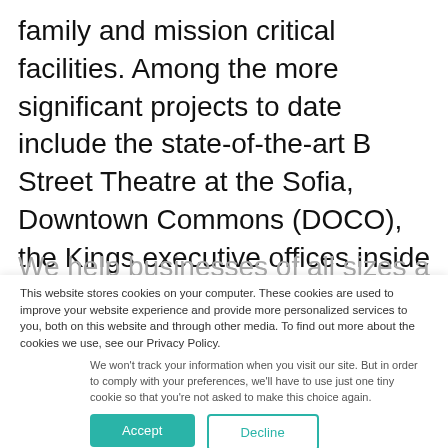family and mission critical facilities. Among the more significant projects to date include the state-of-the-art B Street Theatre at the Sofia, Downtown Commons (DOCO), the Kings executive offices inside the Sawyer Hotel, EA Capital Games, Penumbra, as well as a concrete tilt-up warehouse in Tracy.
This website stores cookies on your computer. These cookies are used to improve your website experience and provide more personalized services to you, both on this website and through other media. To find out more about the cookies we use, see our Privacy Policy.
We won't track your information when you visit our site. But in order to comply with your preferences, we'll have to use just one tiny cookie so that you're not asked to make this choice again.
Accept
Decline